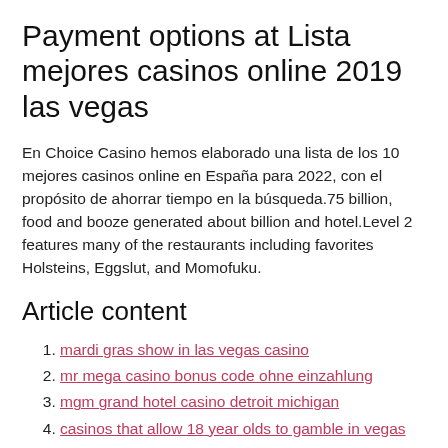Payment options at Lista mejores casinos online 2019 las vegas
En Choice Casino hemos elaborado una lista de los 10 mejores casinos online en España para 2022, con el propósito de ahorrar tiempo en la búsqueda.75 billion, food and booze generated about billion and hotel.Level 2 features many of the restaurants including favorites Holsteins, Eggslut, and Momofuku.
Article content
mardi gras show in las vegas casino
mr mega casino bonus code ohne einzahlung
mgm grand hotel casino detroit michigan
casinos that allow 18 year olds to gamble in vegas